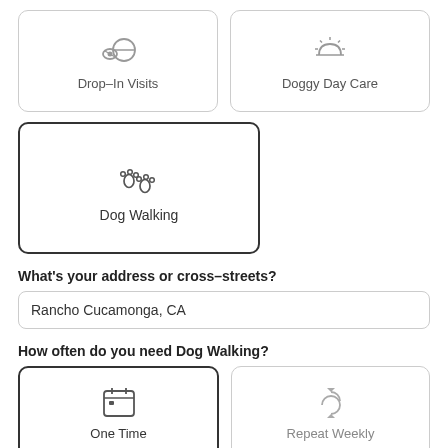[Figure (illustration): Drop-In Visits service card with paw/ball icon]
[Figure (illustration): Doggy Day Care service card with sunrise icon]
[Figure (illustration): Dog Walking service card (selected) with paw prints icon]
What’s your address or cross-streets?
Rancho Cucamonga, CA
How often do you need Dog Walking?
[Figure (illustration): One Time option card (selected) with calendar icon]
[Figure (illustration): Repeat Weekly option card with refresh/cycle icon]
Which dates do you need?
Start
End